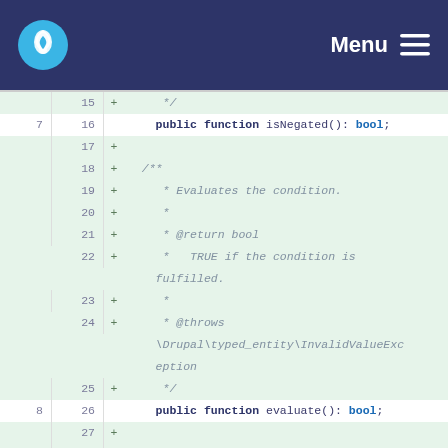Menu
[Figure (screenshot): Code diff view showing PHP interface methods isNegated() and evaluate() with added comment blocks in a Drupal documentation context. Lines 15-29 shown.]